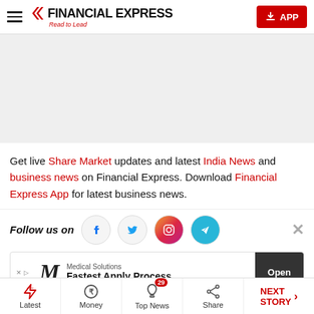FINANCIAL EXPRESS — Read to Lead
[Figure (other): Advertisement placeholder grey box]
Get live Share Market updates and latest India News and business news on Financial Express. Download Financial Express App for latest business news.
Follow us on [Facebook] [Twitter] [Instagram] [Telegram]
[Figure (other): Medical Solutions ad banner — Fastest Apply Process — Open button]
Latest | Money | Top News (29) | Share | NEXT STORY